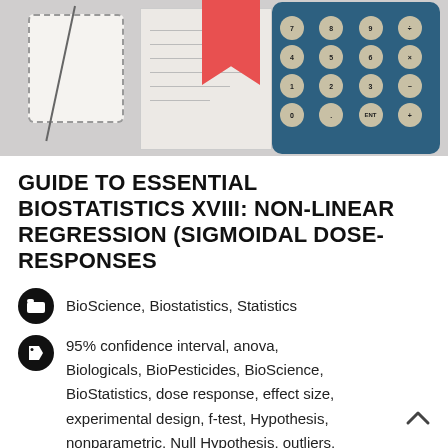[Figure (photo): Photo showing a shirt pocket with a needle/pin, a red bookmark, papers, and a blue scientific calculator]
GUIDE TO ESSENTIAL BIOSTATISTICS XVIII: NON-LINEAR REGRESSION (SIGMOIDAL DOSE-RESPONSES
BioScience, Biostatistics, Statistics
95% confidence interval, anova, Biologicals, BioPesticides, BioScience, BioStatistics, dose response, effect size, experimental design, f-test, Hypothesis, nonparametric, Null Hypothesis, outliers, parametric, post-ANOVA, post-hoc, Q-test, randomization, replicates, sample size, Scientific Method, sigmoidal dose response,